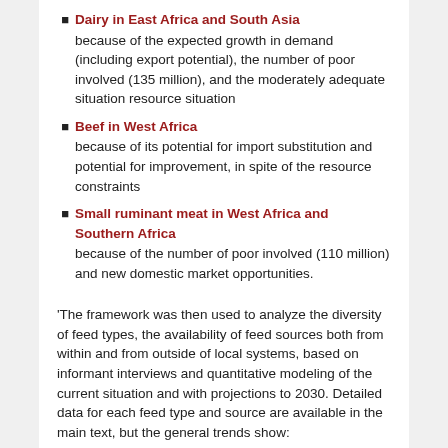Dairy in East Africa and South Asia — because of the expected growth in demand (including export potential), the number of poor involved (135 million), and the moderately adequate situation resource situation
Beef in West Africa — because of its potential for import substitution and potential for improvement, in spite of the resource constraints
Small ruminant meat in West Africa and Southern Africa — because of the number of poor involved (110 million) and new domestic market opportunities.
'The framework was then used to analyze the diversity of feed types, the availability of feed sources both from within and from outside of local systems, based on informant interviews and quantitative modeling of the current situation and with projections to 2030. Detailed data for each feed type and source are available in the main text, but the general trends show: